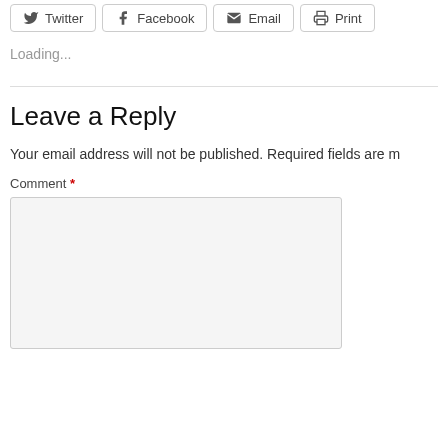[Figure (other): Share buttons row: Twitter, Facebook, Email, Print]
Loading...
Leave a Reply
Your email address will not be published. Required fields are m
Comment *